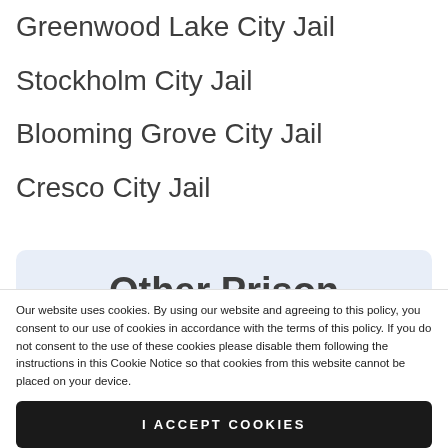Greenwood Lake City Jail
Stockholm City Jail
Blooming Grove City Jail
Cresco City Jail
Other Prison Types
Our website uses cookies. By using our website and agreeing to this policy, you consent to our use of cookies in accordance with the terms of this policy. If you do not consent to the use of these cookies please disable them following the instructions in this Cookie Notice so that cookies from this website cannot be placed on your device.
I ACCEPT COOKIES